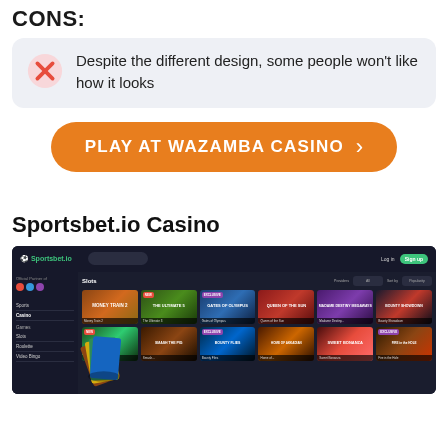CONS:
Despite the different design, some people won't like how it looks
PLAY AT WAZAMBA CASINO
Sportsbet.io Casino
[Figure (screenshot): Screenshot of Sportsbet.io Casino website showing the slots game lobby with game thumbnails including Money Train 2, The Ultimate 3, Gates of Olympus, Queen of the Sun, Madame Destiny Megaways, Bounty Showdown, and more games in a dark-themed interface with navigation sidebar]